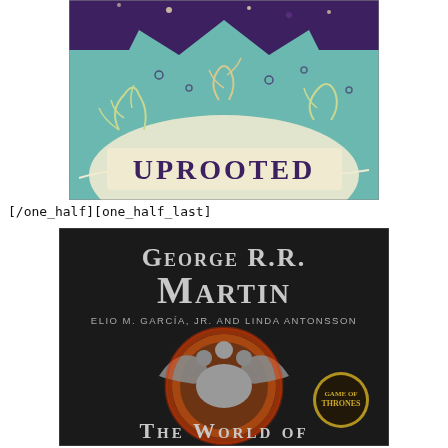[Figure (illustration): Book cover of 'Uprooted' showing decorative fantasy art with teal background, white floral/vine patterns, and the title 'UPROOTED' in bold decorative lettering]
[/one_half][one_half_last]
[Figure (illustration): Book cover of 'The World of Ice and Fire' (Game of Thrones) by George R.R. Martin, Elio M. García Jr. and Linda Antonsson, showing a three-headed dragon sigil in fire on a dark background, with a 'Game of Thrones' badge in the corner and partial text 'THE WORLD OF' at the bottom]